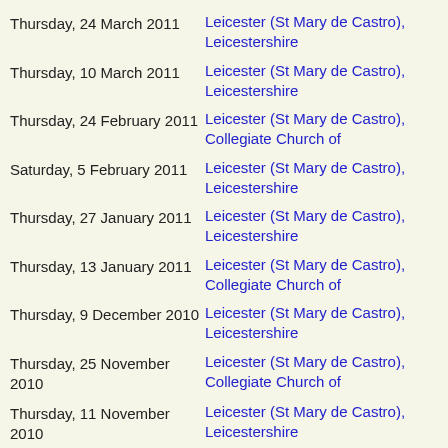Thursday, 24 March 2011 | Leicester (St Mary de Castro), Leicestershire
Thursday, 10 March 2011 | Leicester (St Mary de Castro), Leicestershire
Thursday, 24 February 2011 | Leicester (St Mary de Castro), Collegiate Church of
Saturday, 5 February 2011 | Leicester (St Mary de Castro), Leicestershire
Thursday, 27 January 2011 | Leicester (St Mary de Castro), Leicestershire
Thursday, 13 January 2011 | Leicester (St Mary de Castro), Collegiate Church of
Thursday, 9 December 2010 | Leicester (St Mary de Castro), Leicestershire
Thursday, 25 November 2010 | Leicester (St Mary de Castro), Collegiate Church of
Thursday, 11 November 2010 | Leicester (St Mary de Castro), Leicestershire
Thursday, 28 October 2010 | Leicester (St Mary de Castro), Collegiate Church of
Thursday, 14 October 2010 | Leicester (St Mary de Castro), Leicestershire
Thursday, 23 September 2010 | Leicester (St Mary de Castro),